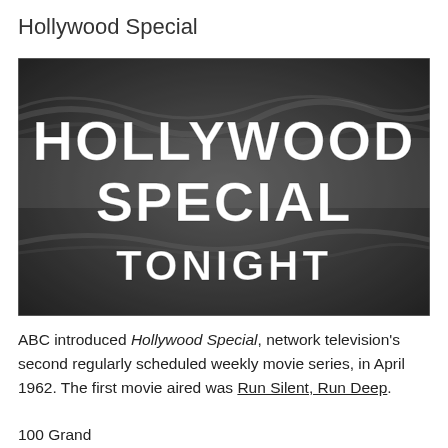Hollywood Special
[Figure (photo): Black and white title card image showing the text 'HOLLYWOOD SPECIAL TONIGHT' in white bold letters against a dark textured background.]
ABC introduced Hollywood Special, network television's second regularly scheduled weekly movie series, in April 1962. The first movie aired was Run Silent, Run Deep.
100 Grand